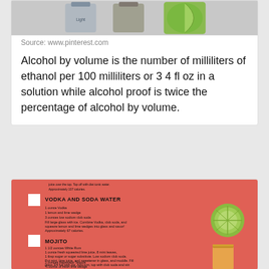[Figure (photo): Image strip showing alcoholic beverage bottles and a lime wedge]
Source: www.pinterest.com
Alcohol by volume is the number of milliliters of ethanol per 100 milliliters or 3 4 fl oz in a solution while alcohol proof is twice the percentage of alcohol by volume.
[Figure (infographic): Red infographic showing cocktail recipes including Vodka and Soda Water, Mojito, and Tequila Highball with checkboxes and drink images]